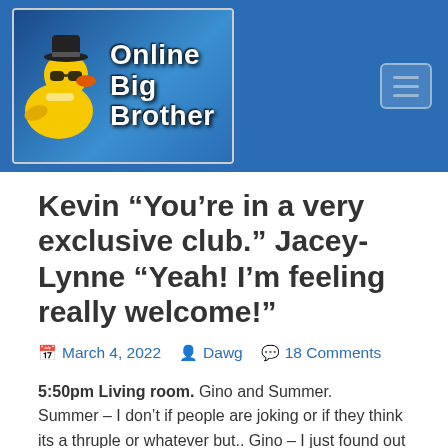[Figure (logo): Online Big Brother website header logo with rubber duck wearing sunglasses and hat on a blue background with text 'Online Big Brother']
Kevin “You’re in a very exclusive club.” Jacey-Lynne “Yeah! I’m feeling really welcome!”
March 4, 2022   Dawg   18 Comments
5:50pm Living room. Gino and Summer. Summer – I don’t if people are joking or if they think its a thruple or whatever but.. Gino – I just found out about it happened last weekend kind of right. Summer – yeah two boys and one girl. How fun. If we can create another .. I won’t say thruple but like if we can just